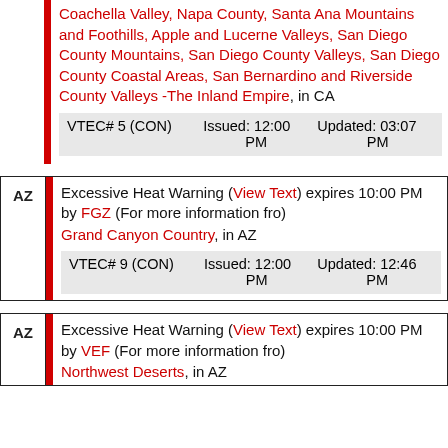Coachella Valley, Napa County, Santa Ana Mountains and Foothills, Apple and Lucerne Valleys, San Diego County Mountains, San Diego County Valleys, San Diego County Coastal Areas, San Bernardino and Riverside County Valleys -The Inland Empire, in CA
| VTEC# | Issued | Updated |
| --- | --- | --- |
| VTEC# 5 (CON) | Issued: 12:00 PM | Updated: 03:07 PM |
Excessive Heat Warning (View Text) expires 10:00 PM by FGZ (For more information fro)
Grand Canyon Country, in AZ
| VTEC# | Issued | Updated |
| --- | --- | --- |
| VTEC# 9 (CON) | Issued: 12:00 PM | Updated: 12:46 PM |
Excessive Heat Warning (View Text) expires 10:00 PM by VEF (For more information fro)
Northwest Deserts, in AZ